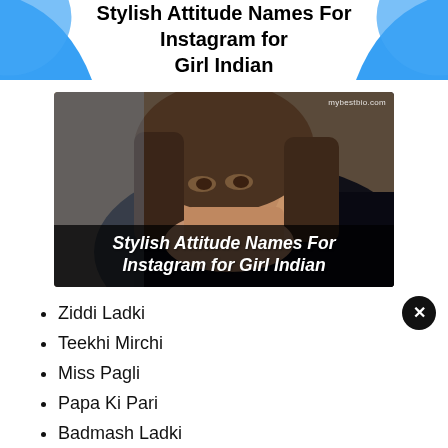Stylish Attitude Names For Instagram for Girl Indian
[Figure (photo): Young woman with long brown hair covering her face with a dark jacket, with text overlay reading 'Stylish Attitude Names For Instagram for Girl Indian' and watermark 'mybestbio.com']
Ziddi Ladki
Teekhi Mirchi
Miss Pagli
Papa Ki Pari
Badmash Ladki
Toofani Girl